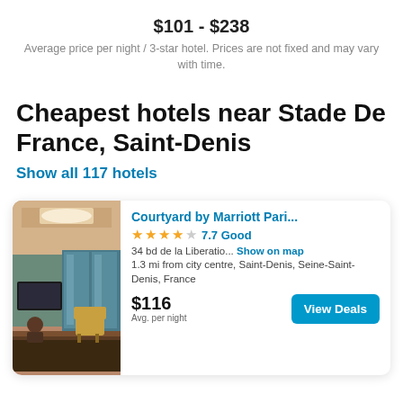$101 - $238
Average price per night / 3-star hotel. Prices are not fixed and may vary with time.
Cheapest hotels near Stade De France, Saint-Denis
Show all 117 hotels
[Figure (photo): Hotel lobby interior photo of Courtyard by Marriott]
Courtyard by Marriott Pari... ★★★★☆ 7.7 Good 34 bd de la Liberatio... Show on map 1.3 mi from city centre, Saint-Denis, Seine-Saint-Denis, France $116 Avg. per night View Deals